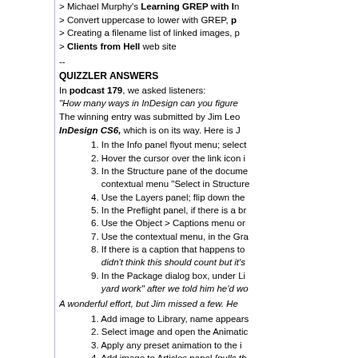> Michael Murphy's Learning GREP with InDesign
> Convert uppercase to lower with GREP, p
> Creating a filename list of linked images, p
> Clients from Hell web site
--
QUIZZLER ANSWERS
In podcast 179, we asked listeners:
"How many ways in InDesign can you figure
The winning entry was submitted by Jim Leo
InDesign CS6, which is on its way. Here is J
1. In the Info panel flyout menu; select
2. Hover the cursor over the link icon i
3. In the Structure pane of the docume contextual menu "Select in Structure
4. Use the Layers panel; flip down the
5. In the Preflight panel, if there is a br
6. Use the Object > Captions menu or
7. Use the contextual menu, in the Gra
8. If there is a caption that happens to didn't think this should count but it's
9. In the Package dialog box, under Li yard work" after we told him he'd wo
A wonderful effort, but Jim missed a few. He
1. Add image to Library, name appears
2. Select image and open the Animatic
3. Apply any preset animation to the i
4. Add image to Articles panel [pulls th
5. In the File > Package dialog box, cli podcast — fun times!]
6. Add an Image Name variable (Type
7. If the image name was included in i choosing the relevant XMP field in t
8. Option/Alt-double click to Edit Origi program. [Technically not an "in InD
9. Export to EPUB or HTML and look